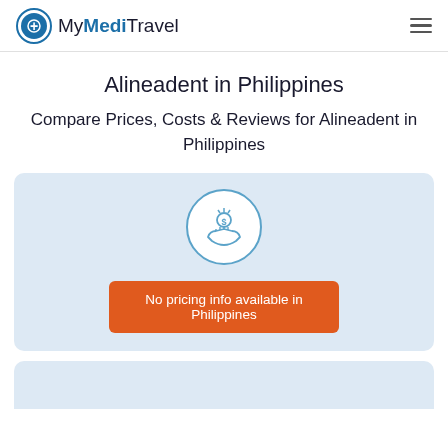MyMediTravel
Alineadent in Philippines
Compare Prices, Costs & Reviews for Alineadent in Philippines
[Figure (illustration): Circular icon with a hand holding a dollar coin with sparkles above it, outlined in blue, inside a white circle with blue border on a light blue card background]
No pricing info available in Philippines